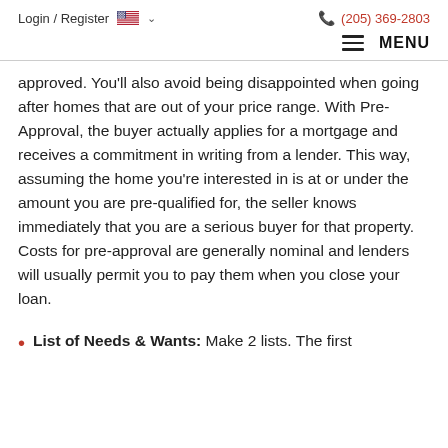Login / Register  🇺🇸 ∨    📞 (205) 369-2803
≡ MENU
approved. You'll also avoid being disappointed when going after homes that are out of your price range. With Pre-Approval, the buyer actually applies for a mortgage and receives a commitment in writing from a lender. This way, assuming the home you're interested in is at or under the amount you are pre-qualified for, the seller knows immediately that you are a serious buyer for that property. Costs for pre-approval are generally nominal and lenders will usually permit you to pay them when you close your loan.
List of Needs & Wants: Make 2 lists. The first